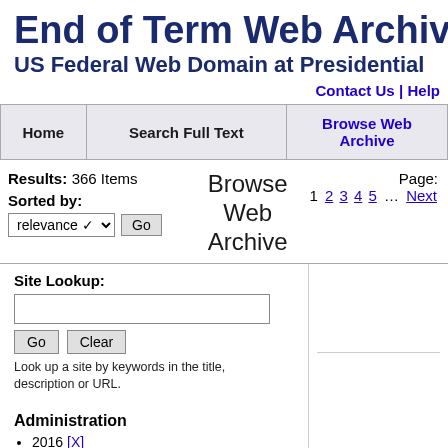End of Term Web Archiv
US Federal Web Domain at Presidential
Contact Us | Help
| Home | Search Full Text | Browse Web Archive |
| --- | --- | --- |
Results: 366 Items
Sorted by:
Browse Web Archive
Page: 1 2 3 4 5 … Next
Site Lookup:
Look up a site by keywords in the title, description or URL.
Administration
2016 [X]